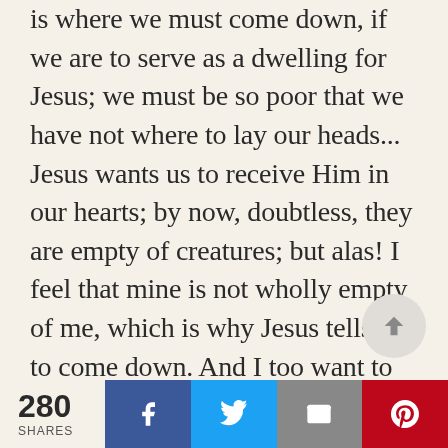is where we must come down, if we are to serve as a dwelling for Jesus; we must be so poor that we have not where to lay our heads... Jesus wants us to receive Him in our hearts; by now, doubtless, they are empty of creatures; but alas! I feel that mine is not wholly empty of me, which is why Jesus tells me to come down. And I too want to hide my face, I want my Beloved alone to be able to see it ... that in my heart at least He
280 SHARES